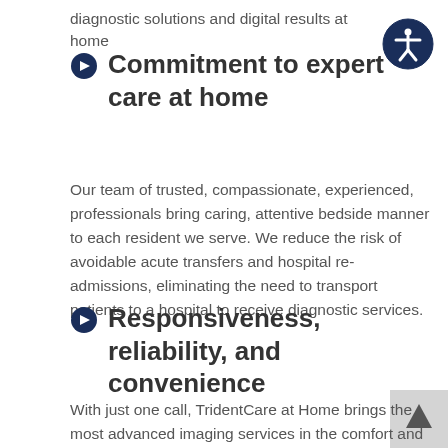diagnostic solutions and digital results at home
Commitment to expert care at home
Our team of trusted, compassionate, experienced, professionals bring caring, attentive bedside manner to each resident we serve. We reduce the risk of avoidable acute transfers and hospital re-admissions, eliminating the need to transport patients to a hospital to receive diagnostic services.
Responsiveness, reliability, and convenience
With just one call, TridentCare at Home brings the most advanced imaging services in the comfort and